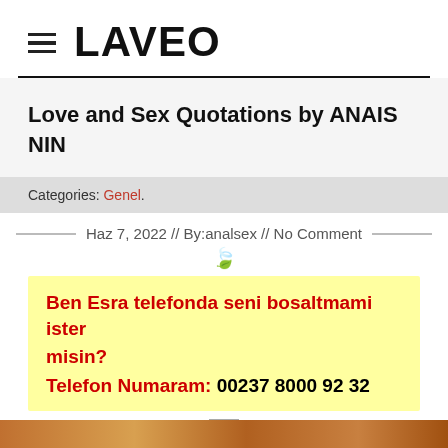LAVEO
Love and Sex Quotations by ANAIS NIN
Categories: Genel.
Haz 7, 2022 // By:analsex // No Comment
Ben Esra telefonda seni bosaltmami ister misin?
Telefon Numaram: 00237 8000 92 32
[Figure (photo): Broken image placeholder and colored image bar at bottom]